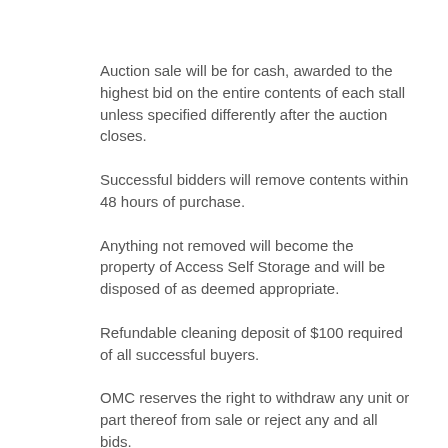Auction sale will be for cash, awarded to the highest bid on the entire contents of each stall unless specified differently after the auction closes.
Successful bidders will remove contents within 48 hours of purchase.
Anything not removed will become the property of Access Self Storage and will be disposed of as deemed appropriate.
Refundable cleaning deposit of $100 required of all successful buyers.
OMC reserves the right to withdraw any unit or part thereof from sale or reject any and all bids.